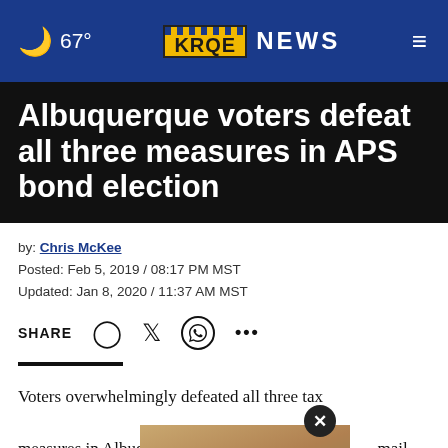67° KRQE NEWS
Albuquerque voters defeat all three measures in APS bond election
by: Chris McKee
Posted: Feb 5, 2019 / 08:17 PM MST
Updated: Jan 8, 2020 / 11:37 AM MST
SHARE [social icons]
Voters overwhelmingly defeated all three tax measures in Albuquerque Public Schools' special mail-in election